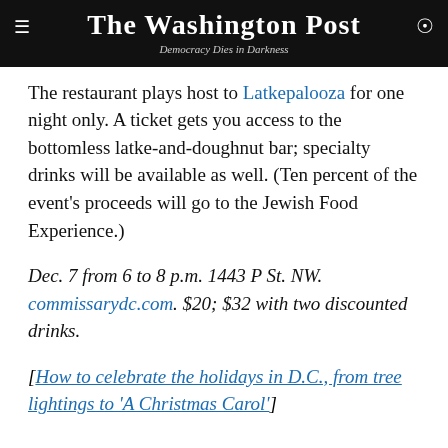The Washington Post
Democracy Dies in Darkness
The restaurant plays host to Latkepalooza for one night only. A ticket gets you access to the bottomless latke-and-doughnut bar; specialty drinks will be available as well. (Ten percent of the event's proceeds will go to the Jewish Food Experience.)
Dec. 7 from 6 to 8 p.m. 1443 P St. NW. commissarydc.com. $20; $32 with two discounted drinks.
[How to celebrate the holidays in D.C., from tree lightings to 'A Christmas Carol']